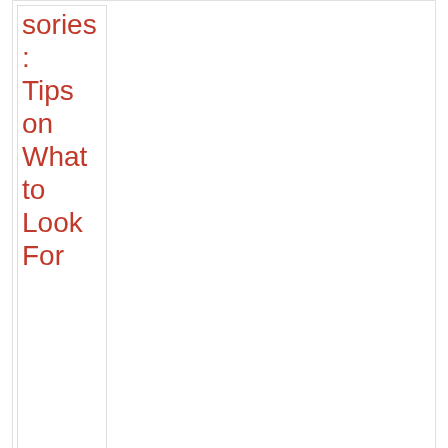[Figure (other): Thumbnail image placeholder for an article about Phone Accessories with red link text reading 'sories: Tips on What to Look For']
sories: Tips on What to Look For
Phone Accessories to Make Your Smartphone Better in 2020
December 2, 2020
[Figure (other): Thumbnail image placeholder for article 'Phone Accessories to Make Your Smartphone Better in 2020' with broken image icon and red text]
Phone Accessories to Make Your Smartphone Better in 2020